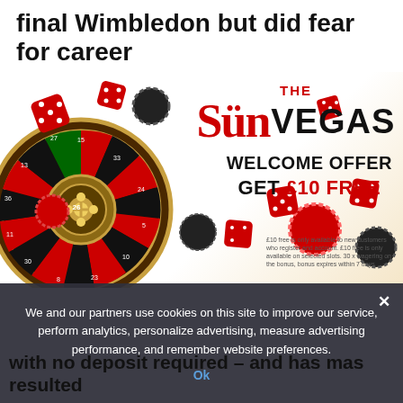final Wimbledon but did fear for career
[Figure (illustration): The Sun Vegas casino advertisement with roulette wheel, dice, and poker chips. Shows 'THE Sun VEGAS WELCOME OFFER GET £10 FREE' text with small print disclaimer about new customers.]
We and our partners use cookies on this site to improve our service, perform analytics, personalize advertising, measure advertising performance, and remember website preferences.
with no deposit required – and has mas resulted
Ok